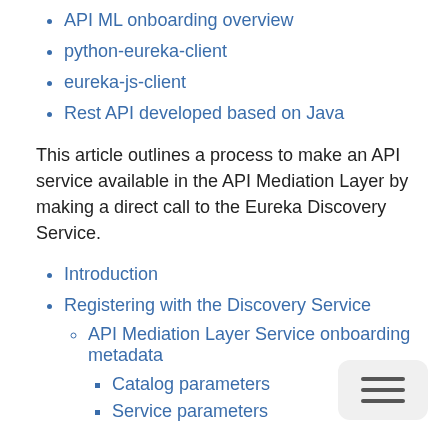API ML onboarding overview
python-eureka-client
eureka-js-client
Rest API developed based on Java
This article outlines a process to make an API service available in the API Mediation Layer by making a direct call to the Eureka Discovery Service.
Introduction
Registering with the Discovery Service
API Mediation Layer Service onboarding metadata
Catalog parameters
Service parameters